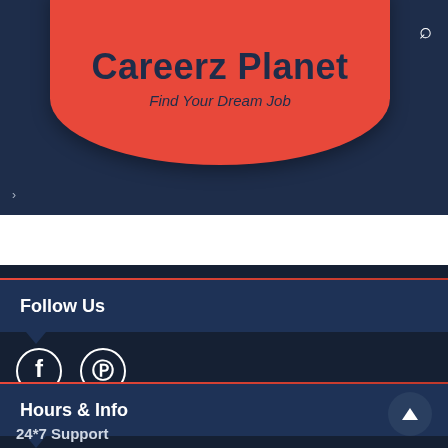Careerz Planet
Find Your Dream Job
Follow Us
[Figure (illustration): Facebook and Pinterest social media icons in circular white outlines on dark navy background]
Hours & Info
24*7 Support